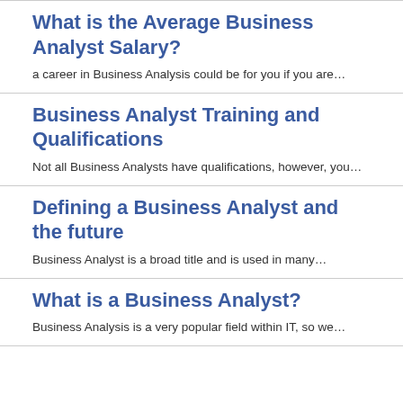What is the Average Business Analyst Salary?
a career in Business Analysis could be for you if you are…
Business Analyst Training and Qualifications
Not all Business Analysts have qualifications, however, you…
Defining a Business Analyst and the future
Business Analyst is a broad title and is used in many…
What is a Business Analyst?
Business Analysis is a very popular field within IT, so we…